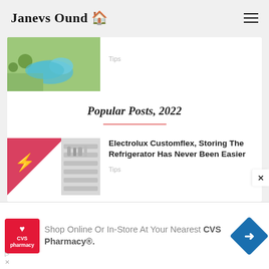Janevs Ound 🏠
[Figure (photo): Aerial view of a backyard swimming pool with green lawn]
Tips
Popular Posts, 2022
[Figure (photo): Electrolux Customflex refrigerator interior with shelves and items]
Electrolux Customflex, Storing The Refrigerator Has Never Been Easier
Tips
[Figure (screenshot): CVS Pharmacy advertisement banner: Shop Online Or In-Store At Your Nearest CVS Pharmacy®]